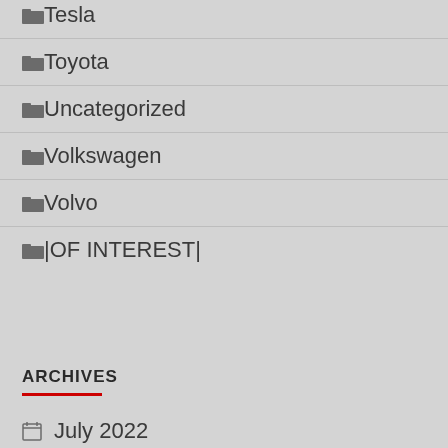Tesla
Toyota
Uncategorized
Volkswagen
Volvo
|OF INTEREST|
ARCHIVES
July 2022